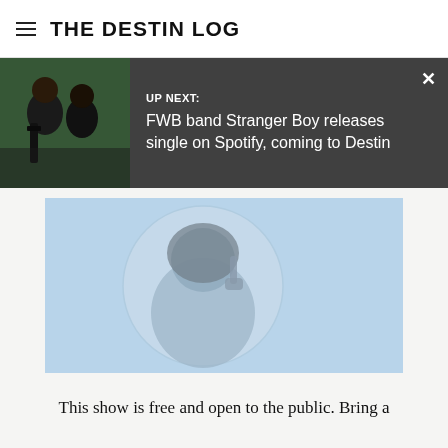THE DESTIN LOG
UP NEXT: FWB band Stranger Boy releases single on Spotify, coming to Destin
[Figure (photo): Profile placeholder image with silhouette of person raising finger, on light blue background]
This show is free and open to the public. Bring a